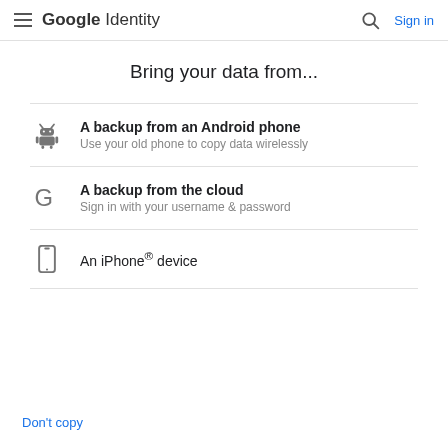Google Identity  Sign in
Bring your data from...
A backup from an Android phone
Use your old phone to copy data wirelessly
A backup from the cloud
Sign in with your username & password
An iPhone® device
Don't copy